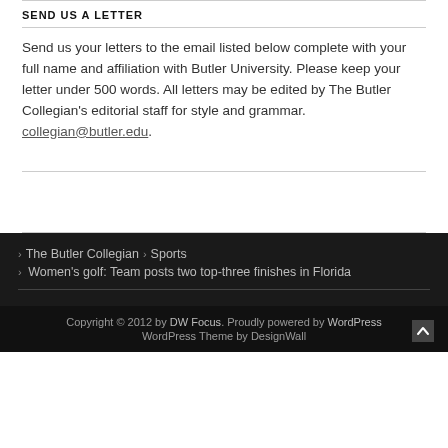SEND US A LETTER
Send us your letters to the email listed below complete with your full name and affiliation with Butler University. Please keep your letter under 500 words. All letters may be edited by The Butler Collegian's editorial staff for style and grammar. collegian@butler.edu.
The Butler Collegian › Sports › Women's golf: Team posts two top-three finishes in Florida
Copyright © 2012 by DW Focus. Proudly powered by WordPress WordPress Theme by DesignWall